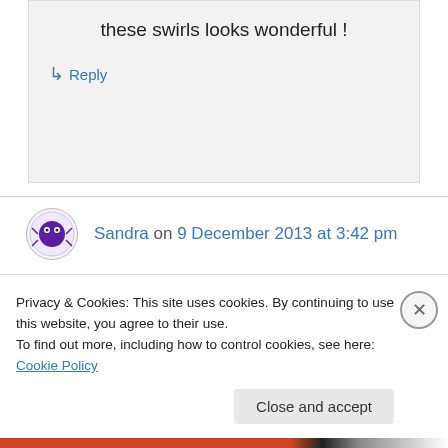these swirls looks wonderful !
↳ Reply
Sandra on 9 December 2013 at 3:42 pm
oooo…beautiful pictures. I want to make these with your sour cherry bam! I have to pawn my
Privacy & Cookies: This site uses cookies. By continuing to use this website, you agree to their use.
To find out more, including how to control cookies, see here: Cookie Policy
Close and accept